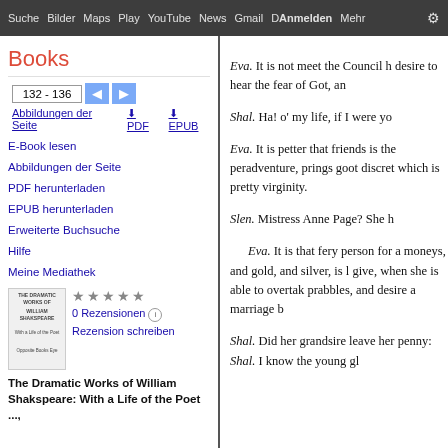Suche  Bilder  Maps  Play  YouTube  News  Gmail  D  Anmelden  Mehr
Books
132 - 136
Abbildungen der Seite  PDF  EPUB
E-Book lesen
Abbildungen der Seite
PDF herunterladen
EPUB herunterladen
Erweiterte Buchsuche
Hilfe
Meine Mediathek
★★★★★
0 Rezensionen
Rezension schreiben
The Dramatic Works of William Shakspeare: With a Life of the Poet ...,
Eva. It is not meet the Council h desire to hear the fear of Got, an
Shal. Ha! o' my life, if I were yo
Eva. It is petter that friends is the peradventure, prings goot discret which is pretty virginity.
Slen. Mistress Anne Page? She h
    Eva. It is that fery person for a moneys, and gold, and silver, is l give, when she is able to overtake prabbles, and desire a marriage b
Shal. Did her grandsire leave her penny: Shal. I know the young gl